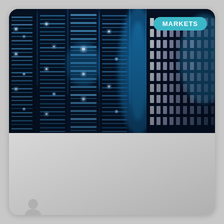[Figure (photo): Data center server racks with blue LED lighting, rows of rack-mounted servers glowing with blue light in a dark room]
MARKETS